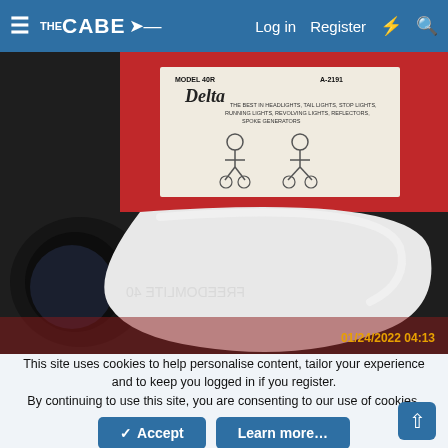☰ THE CABE  Log in  Register  ⚡  🔍
[Figure (photo): Photo of a white Delta bicycle headlight generator in its original red and white cardboard box. The box reads 'Delta - THE BEST IN HEADLIGHTS, TAIL LIGHTS, STOP LIGHTS, RUNNING LIGHTS, REVOLVING LIGHTS, REFLECTORS, SPOKE GENERATORS'. A timestamp reads '01/24/2022 04:13' in orange text on the lower right.]
This site uses cookies to help personalise content, tailor your experience and to keep you logged in if you register. By continuing to use this site, you are consenting to our use of cookies.
✓ Accept   Learn more…